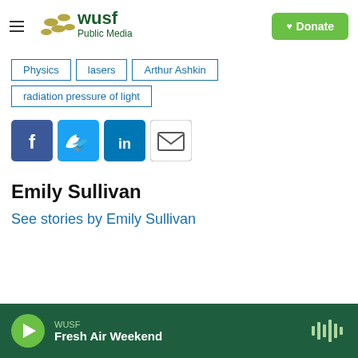WUSF Public Media | Donate
Physics
lasers
Arthur Ashkin
radiation pressure of light
[Figure (other): Social share buttons: Facebook, Twitter, LinkedIn, Email]
Emily Sullivan
See stories by Emily Sullivan
WUSF | Fresh Air Weekend